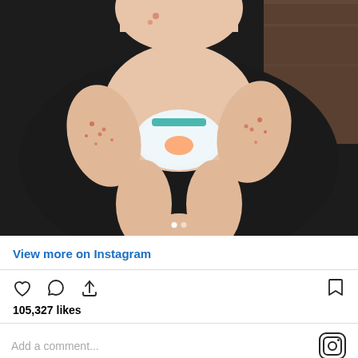[Figure (photo): Instagram post photo showing a baby/toddler in a diaper sitting on a dark chair, with visible skin rash or irritation on arms and legs. The baby's face is partially visible at the top. Carousel indicator dots visible at bottom of image.]
View more on Instagram
[Figure (infographic): Instagram action icons row: heart (like), speech bubble (comment), share arrow on left; bookmark icon on right]
105,327 likes
Add a comment...